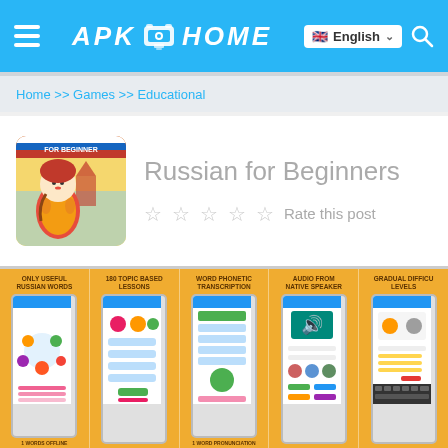APK HOME — English
Home >> Games >> Educational
Russian for Beginners
Rate this post
[Figure (screenshot): App icon for Russian for Beginners showing a matryoshka doll character with Russian flag elements]
[Figure (screenshot): Five app screenshots on yellow background: 'Only Useful Russian Words', '180 Topic Based Lessons', 'Word Phonetic Transcription', 'Audio from Native Speaker', 'Gradual Difficulty Levels']